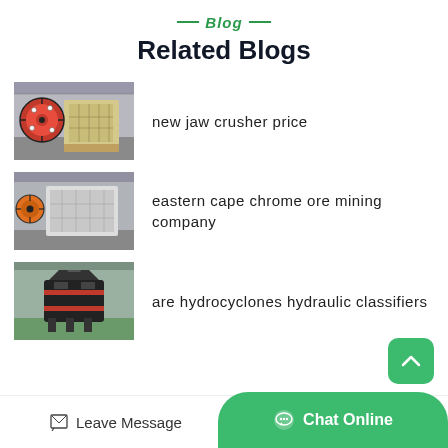Blog
Related Blogs
[Figure (photo): Industrial jaw crusher machine, cream/beige colored, red flywheel visible, in a factory setting]
new jaw crusher price
[Figure (photo): Large jaw crusher machine, gray/white colored, red flywheel, in factory]
eastern cape chrome ore mining company
[Figure (photo): Cone crusher machine, dark/black colored, red accents, in factory with green floor]
are hydrocyclones hydraulic classifiers
Leave Message   Chat Online